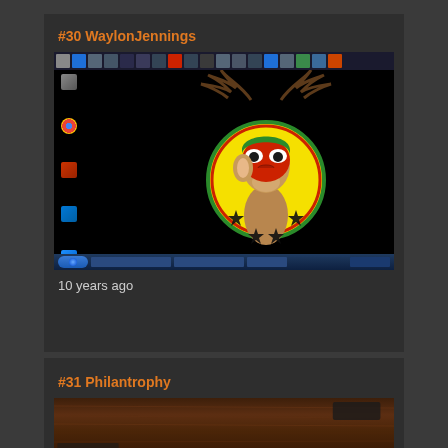#30 WaylonJennings
[Figure (screenshot): Windows 7 desktop screenshot showing a luchador deer mascot (deer with a wrestling mask) centered on a black background, with desktop icons on the left sidebar and taskbar at top and bottom]
10 years ago
#31 Philantrophy
[Figure (screenshot): Desktop screenshot with a dark wood grain wallpaper texture, partially visible]